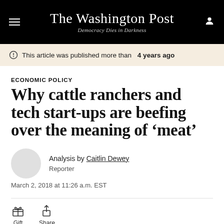The Washington Post — Democracy Dies in Darkness
This article was published more than 4 years ago
ECONOMIC POLICY
Why cattle ranchers and tech start-ups are beefing over the meaning of 'meat'
Analysis by Caitlin Dewey
Reporter
March 2, 2018 at 11:26 a.m. EST